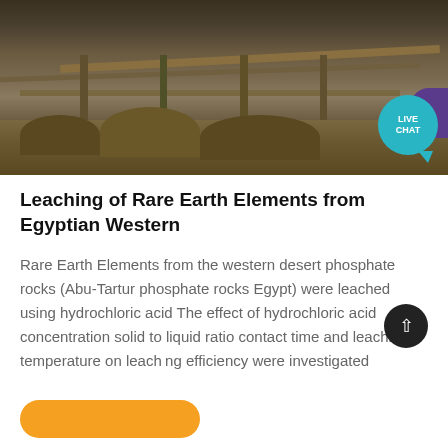[Figure (photo): Industrial mining machinery with conveyor structure and piles of ore/rock material, with a LIVE CHAT button overlay in the upper right]
Leaching of Rare Earth Elements from Egyptian Western
Rare Earth Elements from the western desert phosphate rocks (Abu-Tartur phosphate rocks Egypt) were leached using hydrochloric acid The effect of hydrochloric acid concentration solid to liquid ratio contact time and leaching temperature on leaching efficiency were investigated